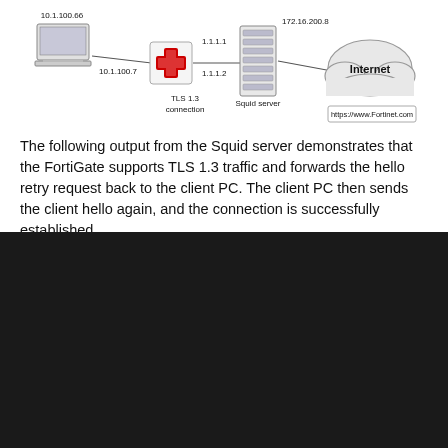[Figure (network-graph): Network diagram showing a client PC (10.1.100.66) connected via 10.1.100.7 to a FortiGate device (1.1.1.1), which connects via TLS 1.3 connection through 1.1.1.2 to a Squid server (172.16.200.8), which connects to the Internet cloud labeled 'Internet' with URL https://www.Fortinet.com]
The following output from the Squid server demonstrates that the FortiGate supports TLS 1.3 traffic and forwards the hello retry request back to the client PC. The client PC then sends the client hello again, and the connection is successfully established.
This site uses cookies. Some are essential to the operation of the site; others help us improve the user experience. By continuing to use the site, you consent to the use of these cookies. To learn more about cookies, please read our privacy policy.